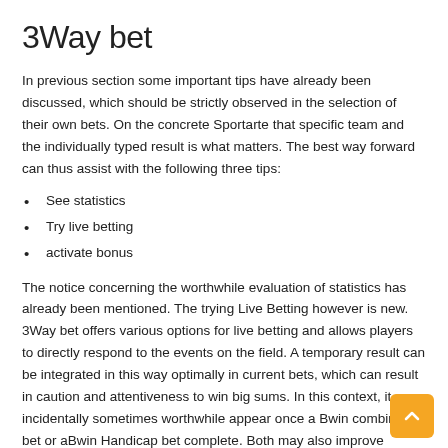3Way bet
In previous section some important tips have already been discussed, which should be strictly observed in the selection of their own bets. On the concrete Sportarte that specific team and the individually typed result is what matters. The best way forward can thus assist with the following three tips:
See statistics
Try live betting
activate bonus
The notice concerning the worthwhile evaluation of statistics has already been mentioned. The trying Live Betting however is new. 3Way bet offers various options for live betting and allows players to directly respond to the events on the field. A temporary result can be integrated in this way optimally in current bets, which can result in caution and attentiveness to win big sums. In this context, it may incidentally sometimes worthwhile appear once a Bwin combination bet or aBwin Handicap bet complete. Both may also improve chances of winning. Bonus actions, however worthwhile in principle